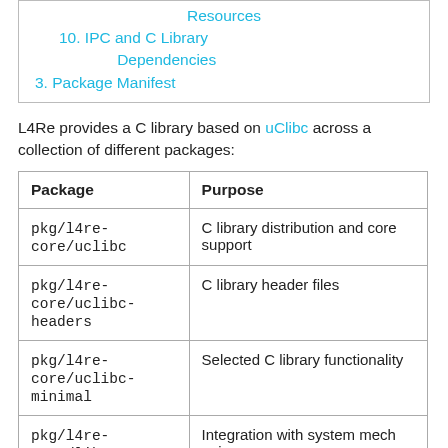Resources
10. IPC and C Library Dependencies
3. Package Manifest
L4Re provides a C library based on uClibc across a collection of different packages:
| Package | Purpose |
| --- | --- |
| pkg/l4re-core/uclibc | C library distribution and core support |
| pkg/l4re-core/uclibc-headers | C library header files |
| pkg/l4re-core/uclibc-minimal | Selected C library functionality |
| pkg/l4re-core/libc backends | Integration with system mechanisms |